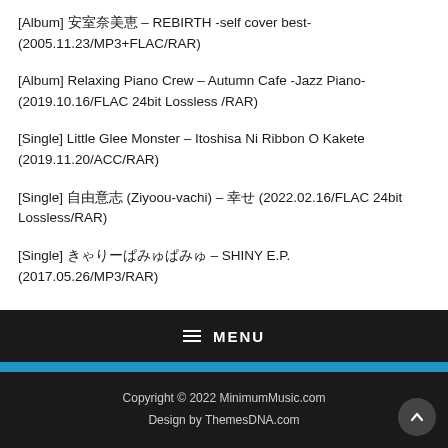[Album] 安室奈美恵 – REBIRTH -self cover best- (2005.11.23/MP3+FLAC/RAR)
[Album] Relaxing Piano Crew – Autumn Cafe -Jazz Piano- (2019.10.16/FLAC 24bit Lossless /RAR)
[Single] Little Glee Monster – Itoshisa Ni Ribbon O Kakete (2019.11.20/ACC/RAR)
[Single] 自由意志 (Ziyoou-vachi) – 幸せ (2022.02.16/FLAC 24bit Lossless/RAR)
[Single] きゃりーぱみゅぱみゅ – SHINY E.P. (2017.05.26/MP3/RAR)
Copyright © 2022 MinimumMusic.com
Design by ThemesDNA.com